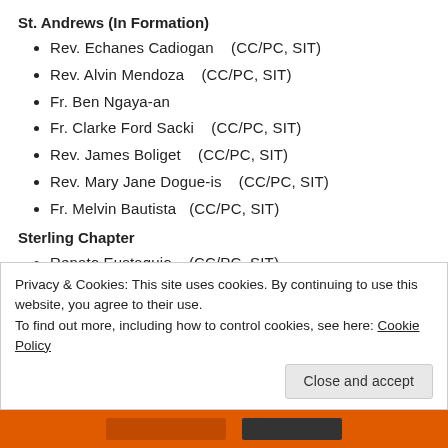St. Andrews (In Formation)
Rev. Echanes Cadiogan    (CC/PC, SIT)
Rev. Alvin Mendoza    (CC/PC, SIT)
Fr. Ben Ngaya-an
Fr. Clarke Ford Sacki    (CC/PC, SIT)
Rev. James Boliget    (CC/PC, SIT)
Rev. Mary Jane Dogue-is    (CC/PC, SIT)
Fr. Melvin Bautista    (CC/PC, SIT)
Sterling Chapter
Renato Eustaquio    (CC/PC, SIT)
Privacy & Cookies: This site uses cookies. By continuing to use this website, you agree to their use.
To find out more, including how to control cookies, see here: Cookie Policy
Close and accept